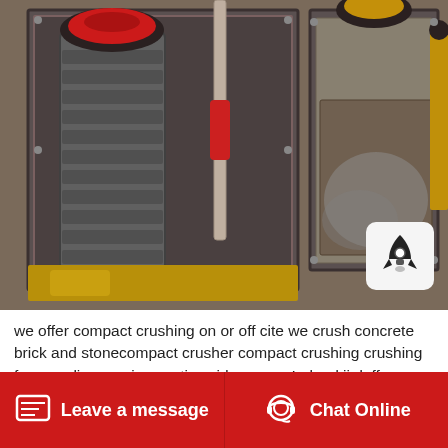[Figure (photo): Industrial crushing machinery — a large compact crusher/roll crusher with serrated metal rollers and heavy bolted iron frame housing, viewed from above. Heavy equipment in a workshop or industrial facility setting with gold/yellow and dark metal components.]
we offer compact crushing on or off cite we crush concrete brick and stonecompact crusher compact crushing crushing for recycling services nationwide across Ireland jj duffy construction
Leave a message   Chat Online